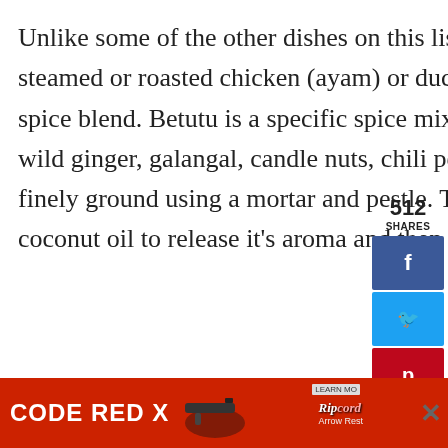Unlike some of the other dishes on this list, Betutu is 100% Balinese. Its steamed or roasted chicken (ayam) or duck (bebek) in a rich bumbu betutu spice blend. Betutu is a specific spice mix of shallots, garlic, turmeric, ginger, wild ginger, galangal, candle nuts, chili peppers, shrimp paste, and peanuts all finely ground using a mortar and pestle. This paste is then sauteed with coconut oil to release it's aroma and then rubbed onto either chicken or
[Figure (infographic): Social share sidebar showing 512 SHARES count and social media buttons for Facebook, Twitter, Pinterest, LinkedIn, and Email]
[Figure (infographic): Advertisement banner at bottom showing CODE RED X text with Ripcord Arrow Rest product ad on red background]